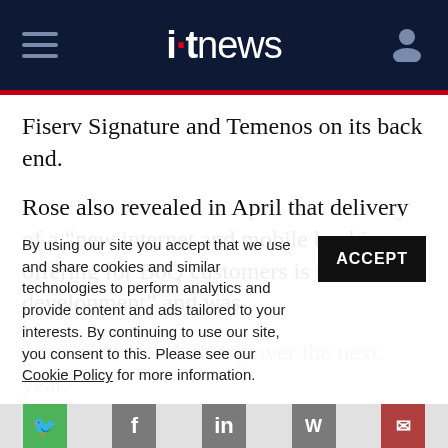itnews
Fiserv Signature and Temenos on its back end.
Rose also revealed in April that delivery of a “new internet and mobile banking offering for BoQ customers is now under development” and was scheduled “for delivery over the next year.”
By using our site you accept that we use and share cookies and similar technologies to perform analytics and provide content and ads tailored to your interests. By continuing to use our site, you consent to this. Please see our Cookie Policy for more information.